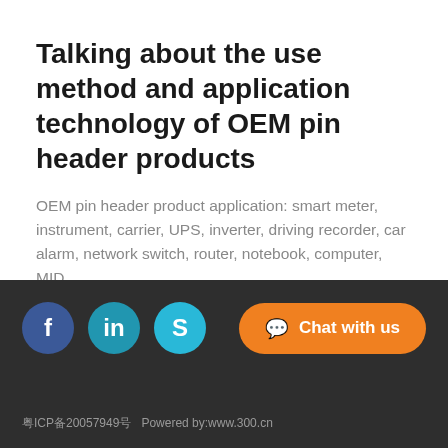Talking about the use method and application technology of OEM pin header products
OEM pin header product application: smart meter, instrument, carrier, UPS, inverter, driving recorder, car alarm, network switch, router, notebook, computer, MID…
READ MORE  NEWS CENTER
Social icons: Facebook, LinkedIn, Skype | Chat with us | 粤ICP备20057949号  Powered by:www.300.cn